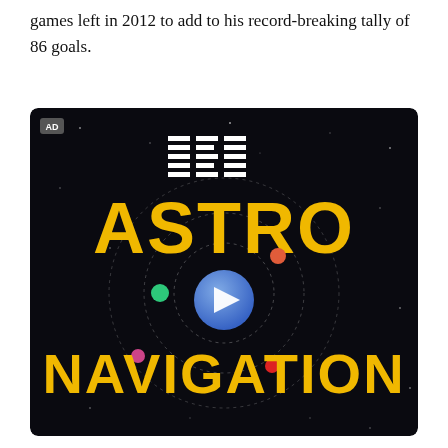games left in 2012 to add to his record-breaking tally of 86 goals.
[Figure (screenshot): IBM advertisement showing 'ASTRO NAVIGATION' text in large gold/yellow letters on a dark space-themed background with orbital rings, colored dots, and a video play button in the center. IBM logo in white striped letters at the top. Small 'AD' label in top-left corner.]